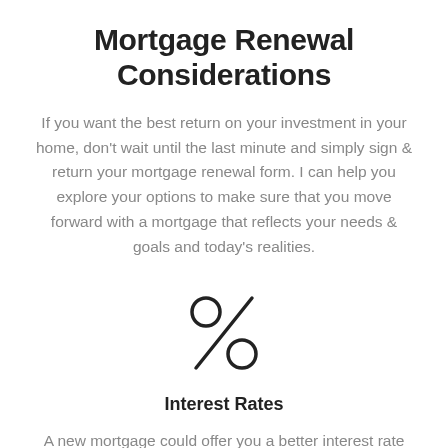Mortgage Renewal Considerations
If you want the best return on your investment in your home, don't wait until the last minute and simply sign & return your mortgage renewal form. I can help you explore your options to make sure that you move forward with a mortgage that reflects your needs & goals and today's realities.
[Figure (illustration): A percentage symbol icon drawn with thin strokes: two circles (upper-left and lower-right) connected by a diagonal slash line.]
Interest Rates
A new mortgage could offer you a better interest rate than your current mortgage.